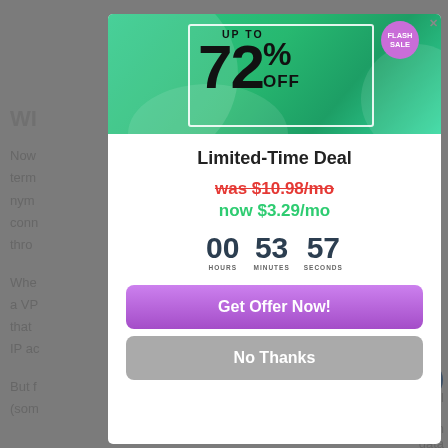[Figure (screenshot): Promotional modal popup with flash sale banner showing up to 72% off, limited-time deal pricing (was $10.98/mo, now $3.29/mo), a countdown timer showing 00 hours 53 minutes 57 seconds, a purple 'Get Offer Now!' button, and a grey 'No Thanks' button. Background shows partially obscured web page text.]
UP TO
72% OFF
FLASH SALE
Limited-Time Deal
was $10.98/mo
now $3.29/mo
00 HOURS  53 MINUTES  57 SECONDS
Get Offer Now!
No Thanks